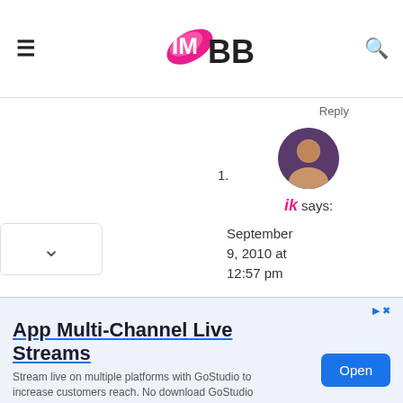IMBB
Reply
1. ik says: September 9, 2010 at 12:57 pm haha:D:D you know my brother just said the same thing!! if i
[Figure (other): Advertisement banner: App Multi-Channel Live Streams. Stream live on multiple platforms with GoStudio to increase customers reach. No download GoStudio. Open button.]